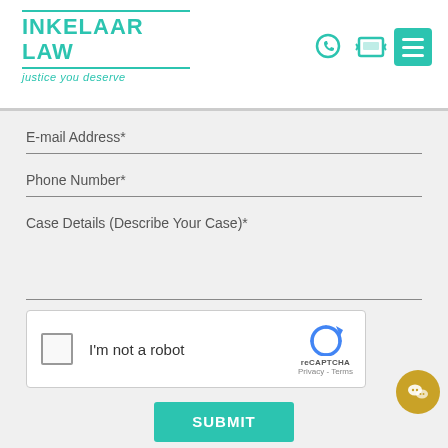[Figure (logo): Inkelaar Law logo with teal color, 'justice you deserve' tagline]
E-mail Address*
Phone Number*
Case Details (Describe Your Case)*
[Figure (other): reCAPTCHA widget with checkbox and 'I'm not a robot' text]
SUBMIT